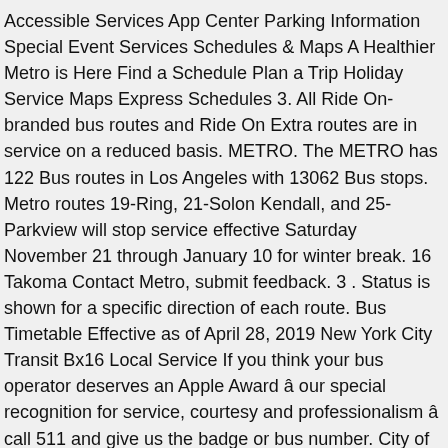Accessible Services App Center Parking Information Special Event Services Schedules & Maps A Healthier Metro is Here Find a Schedule Plan a Trip Holiday Service Maps Express Schedules 3. All Ride On-branded bus routes and Ride On Extra routes are in service on a reduced basis. METRO. The METRO has 122 Bus routes in Los Angeles with 13062 Bus stops. Metro routes 19-Ring, 21-Solon Kendall, and 25-Parkview will stop service effective Saturday November 21 through January 10 for winter break. 16 Takoma Contact Metro, submit feedback. 3 . Status is shown for a specific direction of each route. Bus Timetable Effective as of April 28, 2019 New York City Transit Bx16 Local Service If you think your bus operator deserves an Apple Award â our special recognition for service, courtesy and professionalism â call 511 and give us the badge or bus number. City of North Miami Beach, The Mall at 163rd Street, NE 6 Avenue, City of North Miami, City of Biscayne Park, City of Miami Shores, City of El Portal, Biscayne Boulevard, Omni Bus Terminal. Every local route runs seven days a week. Operating days